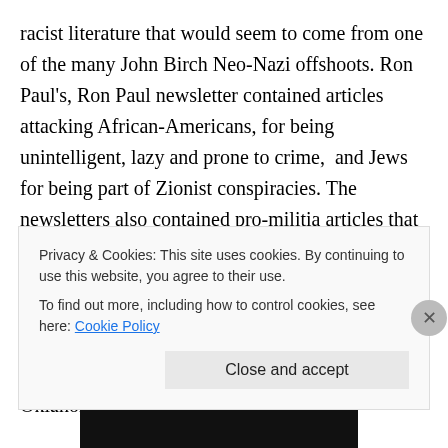racist literature that would seem to come from one of the many John Birch Neo-Nazi offshoots. Ron Paul's, Ron Paul newsletter contained articles attacking African-Americans, for being unintelligent, lazy and prone to crime,  and Jews for being part of Zionist conspiracies. The newsletters also contained pro-militia articles that advised militia armed groups to “Leave no clues…Avoid the phone as much as possible,”…. Don’t fire unless fired upon, but if they mean to have a war, let it begin here” three months before McVeigh bombed the Alfred P. Murrah building in Oklahoma
Privacy & Cookies: This site uses cookies. By continuing to use this website, you agree to their use.
To find out more, including how to control cookies, see here: Cookie Policy
Close and accept